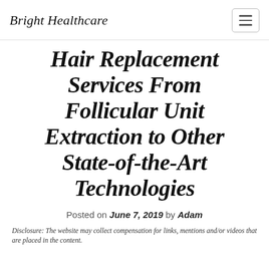Bright Healthcare
Hair Replacement Services From Follicular Unit Extraction to Other State-of-the-Art Technologies
Posted on June 7, 2019 by Adam
Disclosure: The website may collect compensation for links, mentions and/or videos that are placed in the content.